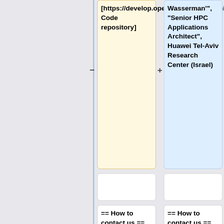[https://develop.openfoam.com/committees/hpc Code repository]
Wasserman", "Senior HPC Applications Architect", Huawei Tel-Aviv Research Center (Israel)
== How to contact us ==
== How to contact us ==
To contact the committee, a specific email-address [mailto:openfoam-hpc-tc@googlegroups.com] has been set-up. This alias
To contact the committee, a specific email-address [mailto:openfoam-hpc-tc@googlegroups.com] has been set-up. This alias